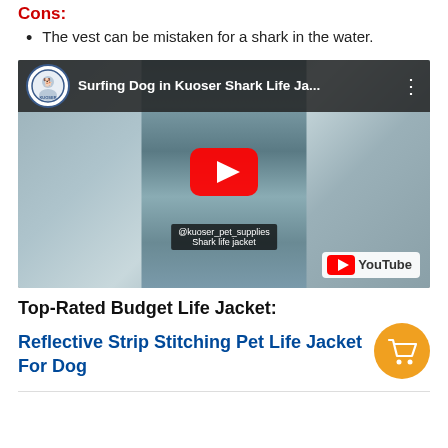Cons:
The vest can be mistaken for a shark in the water.
[Figure (screenshot): YouTube video thumbnail showing a dog surfing in ocean waves wearing a shark life jacket. Video title: Surfing Dog in Kuoser Shark Life Ja... Channel logo visible, YouTube branding at bottom right, caption reads '@kuoser_pet_supplies Shark life jacket']
Top-Rated Budget Life Jacket:
Reflective Strip Stitching Pet Life Jacket For Dog